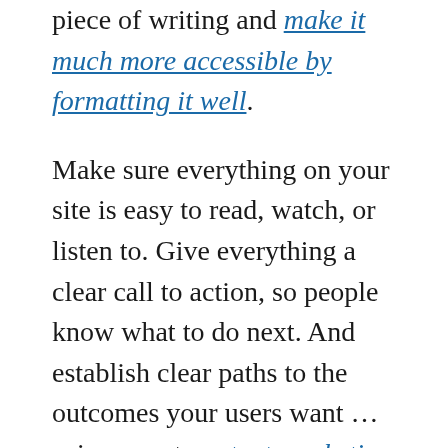piece of writing and make it much more accessible by formatting it well.
Make sure everything on your site is easy to read, watch, or listen to. Give everything a clear call to action, so people know what to do next. And establish clear paths to the outcomes your users want … using smart content marketing strategy to present useful options at every point along the way.
While we're on the subject, if your site looks like it was published in 2003, you need a makeover. Immediately.